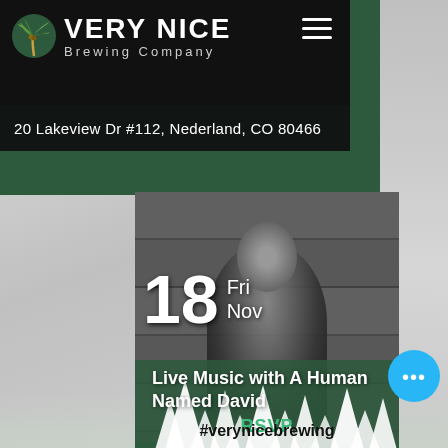[Figure (screenshot): Very Nice Brewing Company website screenshot showing logo, address, event listing with performer photo, date overlay (18 Fri Nov), event title (Live Music with A Human Named David), RSVP button, trees silhouette background, floating action button with ellipsis, and hashtag #verynicebrewing]
VERY NICE Brewing Company
20 Lakeview Dr #112, Nederland, CO 80466
18 Fri Nov
Live Music with A Human Named David
RSVP
#verynicebrewing